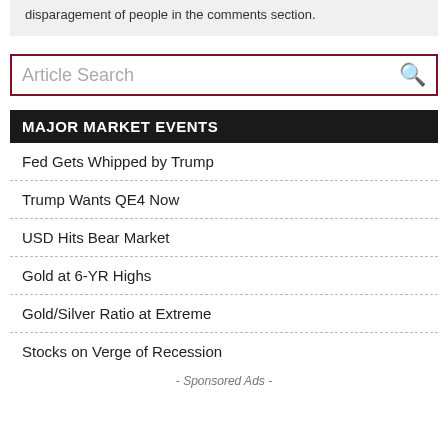disparagement of people in the comments section.
[Figure (other): Article Search input box with dark red border and search icon]
MAJOR MARKET EVENTS
Fed Gets Whipped by Trump
Trump Wants QE4 Now
USD Hits Bear Market
Gold at 6-YR Highs
Gold/Silver Ratio at Extreme
Stocks on Verge of Recession
- Sponsored Ads -